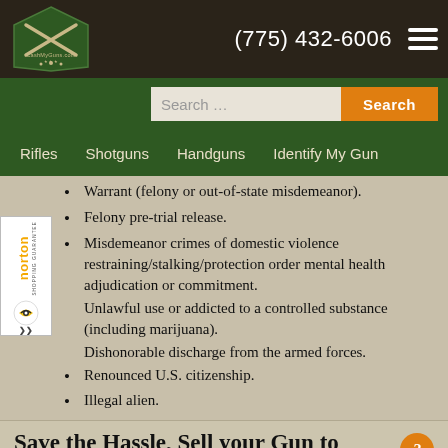(775) 432-6006
Warrant (felony or out-of-state misdemeanor).
Felony pre-trial release.
Misdemeanor crimes of domestic violence restraining/stalking/protection order mental health adjudication or commitment.
Unlawful use or addicted to a controlled substance (including marijuana).
Dishonorable discharge from the armed forces.
Renounced U.S. citizenship.
Illegal alien.
Save the Hassle, Sell your Gun to